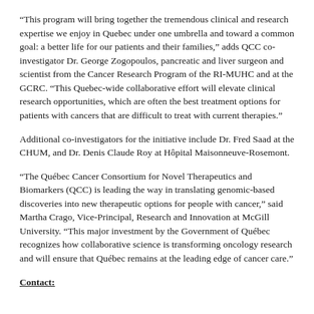“This program will bring together the tremendous clinical and research expertise we enjoy in Quebec under one umbrella and toward a common goal: a better life for our patients and their families,” adds QCC co-investigator Dr. George Zogopoulos, pancreatic and liver surgeon and scientist from the Cancer Research Program of the RI-MUHC and at the GCRC. “This Quebec-wide collaborative effort will elevate clinical research opportunities, which are often the best treatment options for patients with cancers that are difficult to treat with current therapies.”
Additional co-investigators for the initiative include Dr. Fred Saad at the CHUM, and Dr. Denis Claude Roy at Hôpital Maisonneuve-Rosemont.
“The Québec Cancer Consortium for Novel Therapeutics and Biomarkers (QCC) is leading the way in translating genomic-based discoveries into new therapeutic options for people with cancer,” said Martha Crago, Vice-Principal, Research and Innovation at McGill University. “This major investment by the Government of Québec recognizes how collaborative science is transforming oncology research and will ensure that Québec remains at the leading edge of cancer care.”
Contact: